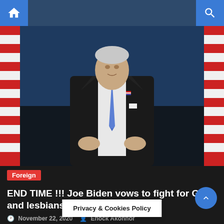Home | Search
[Figure (photo): Joe Biden in a dark suit with blue tie, standing at a podium with American flags in the background, gesturing with both hands]
Foreign
END TIME !!! Joe Biden vows to fight for Gays and lesbians
November 22, 2020  Enock Akonnor
The winner of the 2020 United States Presidential Election, Joe Biden has shockingly sent a strong message to all transgenders (Gays & lesbians) across the
Privacy & Cookies Policy